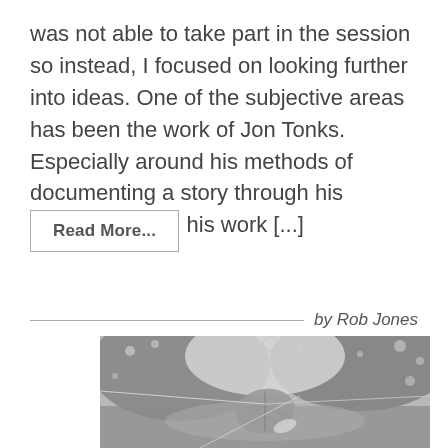was not able to take part in the session so instead, I focused on looking further into ideas. One of the subjective areas has been the work of Jon Tonks. Especially around his methods of documenting a story through his images. I found his work [...]
Read More...
by Rob Jones
[Figure (photo): Black and white photograph showing a wet leaf on a surface with rain droplets and lines, creating a moody atmospheric image.]